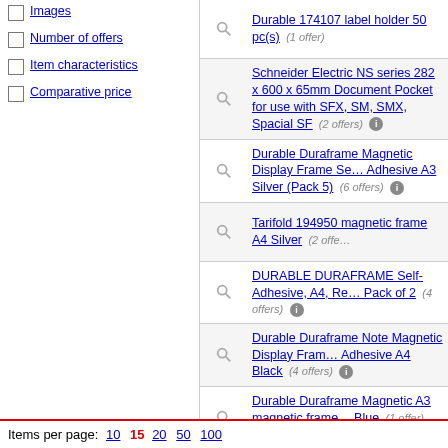Images
Number of offers
Item characteristics
Comparative price
Durable 174107 label holder 50 pc(s) (1 offer)
Schneider Electric NS series 282 x 600 x 65mm Document Pocket for use with SFX, SM, SMX, Spacial SF (2 offers)
Durable Duraframe Magnetic Display Frame Self-Adhesive A3 Silver (Pack 5) (6 offers)
Tarifold 194950 magnetic frame A4 Silver (2 offers)
DURABLE DURAFRAME Self-Adhesive, A4, Red, Pack of 2 (4 offers)
Durable Duraframe Note Magnetic Display Frame Self-Adhesive A4 Black (4 offers)
Durable Duraframe Magnetic A3 magnetic frame Blue (1 offer)
Duraframe® Info-Rahmen / Magnetrahmen / selbstklebende Hülle | black A6 2 pieces self-adhesive (1 offer)
Items per page: 10 15 20 50 100